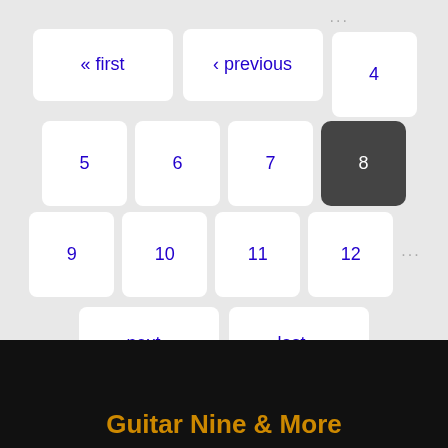« first
‹ previous
...
4
5
6
7
8
9
10
11
12
...
next ›
last »
Guitar Nine & More